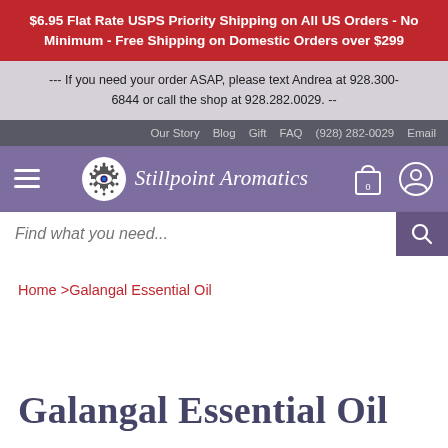$6.95 Flat Rate USPS Priority Shipping on All US Orders - No Minimum - Free Shipping on Domestic Orders over $299
--- If you need your order ASAP, please text Andrea at 928.300-6844 or call the shop at 928.282.0029. --
Our Story  Blog  Gift  FAQ  (928) 282-0029  Email
[Figure (logo): Stillpoint Aromatics logo with gear/eye icon and italic serif wordmark on purple background, with hamburger menu, shopping bag icon, and user account icon]
Find what you need...
Home >Galangal Essential Oil
Galangal Essential Oil